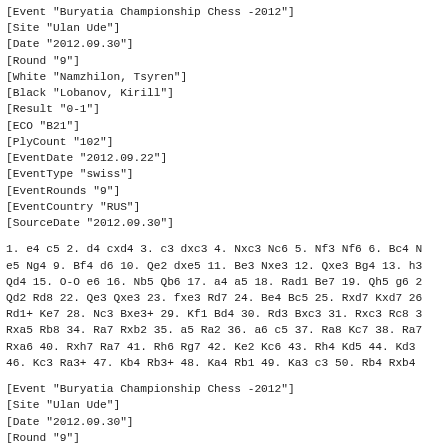[Event "Buryatia Championship Chess -2012"]
[Site "Ulan Ude"]
[Date "2012.09.30"]
[Round "9"]
[White "Namzhilon, Tsyren"]
[Black "Lobanov, Kirill"]
[Result "0-1"]
[ECO "B21"]
[PlyCount "102"]
[EventDate "2012.09.22"]
[EventType "swiss"]
[EventRounds "9"]
[EventCountry "RUS"]
[SourceDate "2012.09.30"]
1. e4 c5 2. d4 cxd4 3. c3 dxc3 4. Nxc3 Nc6 5. Nf3 Nf6 6. Bc4 N
e5 Ng4 9. Bf4 d6 10. Qe2 dxe5 11. Be3 Nxe3 12. Qxe3 Bg4 13. h3
Qd4 15. O-O e6 16. Nb5 Qb6 17. a4 a5 18. Rad1 Be7 19. Qh5 g6 2
Qd2 Rd8 22. Qe3 Qxe3 23. fxe3 Rd7 24. Be4 Bc5 25. Rxd7 Kxd7 26
Rd1+ Ke7 28. Nc3 Bxe3+ 29. Kf1 Bd4 30. Rd3 Bxc3 31. Rxc3 Rc8 3
Rxa5 Rb8 34. Ra7 Rxb2 35. a5 Ra2 36. a6 c5 37. Ra8 Kc7 38. Ra7
Rxa6 40. Rxh7 Ra7 41. Rh6 Rg7 42. Ke2 Kc6 43. Rh4 Kd5 44. Kd3
46. Kc3 Ra3+ 47. Kb4 Rb3+ 48. Ka4 Rb1 49. Ka3 c3 50. Rb4 Rxb4
[Event "Buryatia Championship Chess -2012"]
[Site "Ulan Ude"]
[Date "2012.09.30"]
[Round "9"]
[White "Matveeeva, Engelsina"]
[Black "Onkhonova, Lora"]
[Result "1-0"]
[ECO "C44"]